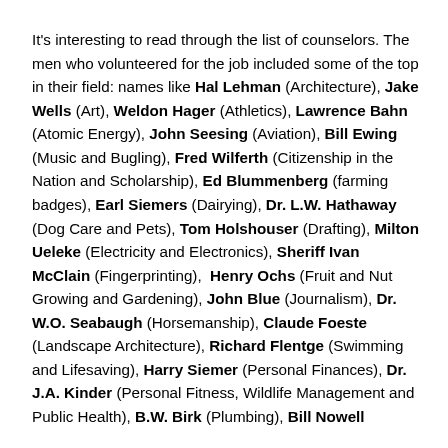It's interesting to read through the list of counselors. The men who volunteered for the job included some of the top in their field: names like Hal Lehman (Architecture), Jake Wells (Art), Weldon Hager (Athletics), Lawrence Bahn (Atomic Energy), John Seesing (Aviation), Bill Ewing (Music and Bugling), Fred Wilferth (Citizenship in the Nation and Scholarship), Ed Blummenberg (farming badges), Earl Siemers (Dairying), Dr. L.W. Hathaway (Dog Care and Pets), Tom Holshouser (Drafting), Milton Ueleke (Electricity and Electronics), Sheriff Ivan McClain (Fingerprinting), Henry Ochs (Fruit and Nut Growing and Gardening), John Blue (Journalism), Dr. W.O. Seabaugh (Horsemanship), Claude Foeste (Landscape Architecture), Richard Flentge (Swimming and Lifesaving), Harry Siemer (Personal Finances), Dr. J.A. Kinder (Personal Fitness, Wildlife Management and Public Health), B.W. Birk (Plumbing), Bill Nowell